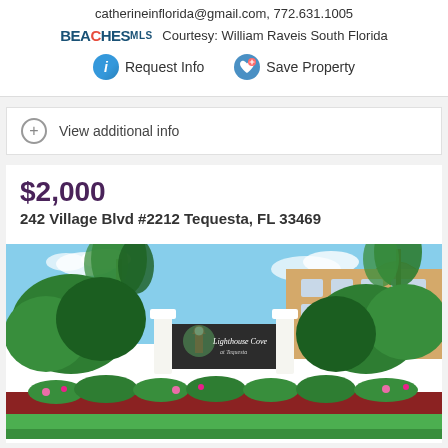catherineinflorida@gmail.com, 772.631.1005
BEACHES MLS Courtesy: William Raveis South Florida
Request Info   Save Property
View additional info
$2,000
242 Village Blvd #2212 Tequesta, FL 33469
[Figure (photo): Entrance sign for Lighthouse Cove at Tequesta community with lush tropical landscaping, palm trees, manicured hedges, and pink flowering plants in front of a beige residential building.]